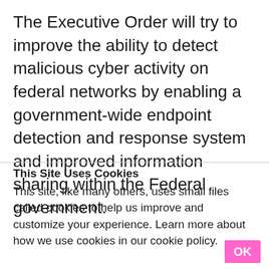The Executive Order will try to improve the ability to detect malicious cyber activity on federal networks by enabling a government-wide endpoint detection and response system and improved information sharing within the Federal government.
This Site Uses Cookies
This site, like many others, uses small files called cookies to help us improve and customize your experience. Learn more about how we use cookies in our cookie policy.